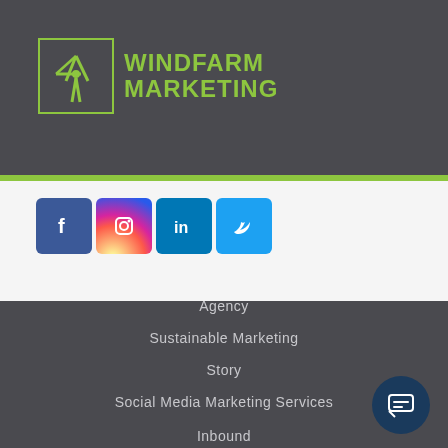[Figure (logo): Windfarm Marketing logo with windmill icon and green text on dark background]
[Figure (infographic): Social media icons row: Facebook, Instagram, LinkedIn, Twitter]
Agency
Sustainable Marketing
Story
Social Media Marketing Services
Inbound